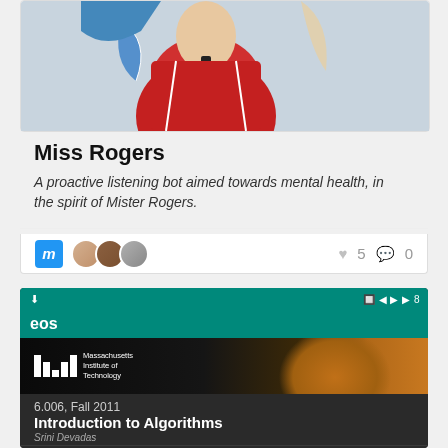[Figure (screenshot): Miss Rogers project card with costume photo showing person in red outfit]
Miss Rogers
A proactive listening bot aimed towards mental health, in the spirit of Mister Rogers.
♥ 5  💬 0
[Figure (screenshot): Android phone screenshot showing MIT OpenCourseWare app with 6.006 Introduction to Algorithms course by Srini Devadas, Lecture 1: Algorithmic Thinking, Peak Finding]